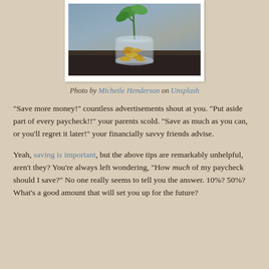[Figure (photo): A glass jar filled with coins with a small green plant growing out of the top, set against a blurred stone/concrete background.]
Photo by Micheile Henderson on Unsplash
“Save more money!” countless advertisements shout at you. “Put aside part of every paycheck!!” your parents scold. “Save as much as you can, or you’ll regret it later!” your financially savvy friends advise.
Yeah, saving is important, but the above tips are remarkably unhelpful, aren’t they? You’re always left wondering, “How much of my paycheck should I save?” No one really seems to tell you the answer. 10%? 50%? What’s a good amount that will set you up for the future?